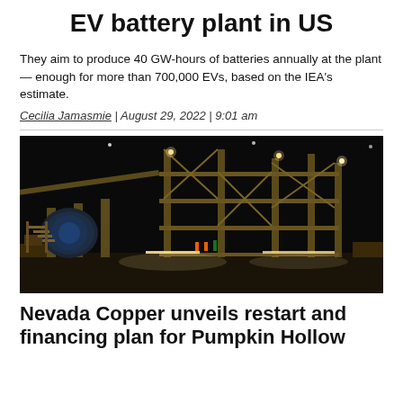EV battery plant in US
They aim to produce 40 GW-hours of batteries annually at the plant — enough for more than 700,000 EVs, based on the IEA's estimate.
Cecilia Jamasmie | August 29, 2022 | 9:01 am
[Figure (photo): Nighttime photograph of a large industrial mining or processing facility with multi-story steel framework structures illuminated by bright lights against a dark sky.]
Nevada Copper unveils restart and financing plan for Pumpkin Hollow